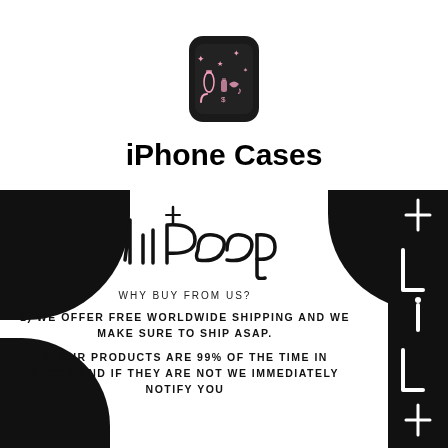[Figure (photo): iPhone case with black background and pink graphic designs (stars, bottles, accessories)]
iPhone Cases
[Figure (logo): Lil Peep handwritten signature/logo in black on white background with black blob corner decorations and vertical right-side graphic]
WHY BUY FROM US?
1) WE OFFER FREE WORLDWIDE SHIPPING AND WE MAKE SURE TO SHIP ASAP.
2) OUR PRODUCTS ARE 99% OF THE TIME IN STOCK AND IF THEY ARE NOT WE IMMEDIATELY NOTIFY YOU